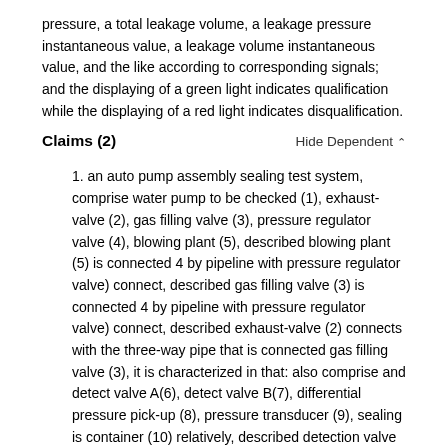pressure, a total leakage volume, a leakage pressure instantaneous value, a leakage volume instantaneous value, and the like according to corresponding signals; and the displaying of a green light indicates qualification while the displaying of a red light indicates disqualification.
Claims (2)
Hide Dependent
1. an auto pump assembly sealing test system, comprise water pump to be checked (1), exhaust-valve (2), gas filling valve (3), pressure regulator valve (4), blowing plant (5), described blowing plant (5) is connected 4 by pipeline with pressure regulator valve) connect, described gas filling valve (3) is connected 4 by pipeline with pressure regulator valve) connect, described exhaust-valve (2) connects with the three-way pipe that is connected gas filling valve (3), it is characterized in that: also comprise and detect valve A(6), detect valve B(7), differential pressure pick-up (8), pressure transducer (9), sealing is container (10) relatively, described detection valve A(6) three-way pipe with the three-way pipe that is connected water pump to be checked (1) and connection gas filling valve (3) connects, described detection valve B(7) with the three-way pipe connection that is connected